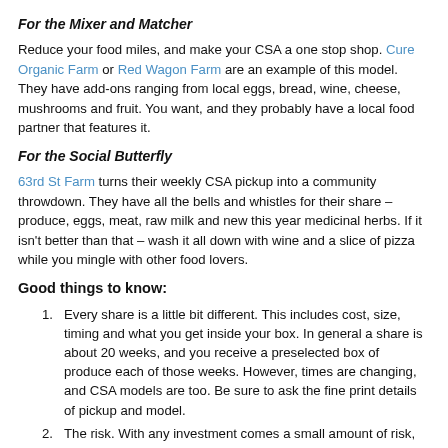For the Mixer and Matcher
Reduce your food miles, and make your CSA a one stop shop. Cure Organic Farm or Red Wagon Farm are an example of this model. They have add-ons ranging from local eggs, bread, wine, cheese, mushrooms and fruit. You want, and they probably have a local food partner that features it.
For the Social Butterfly
63rd St Farm turns their weekly CSA pickup into a community throwdown. They have all the bells and whistles for their share – produce, eggs, meat, raw milk and new this year medicinal herbs. If it isn't better than that – wash it all down with wine and a slice of pizza while you mingle with other food lovers.
Good things to know:
Every share is a little bit different. This includes cost, size, timing and what you get inside your box. In general a share is about 20 weeks, and you receive a preselected box of produce each of those weeks. However, times are changing, and CSA models are too. Be sure to ask the fine print details of pickup and model.
The risk. With any investment comes a small amount of risk, and in these changing climates what's more risky than the weather. When you become a CSA member you share this